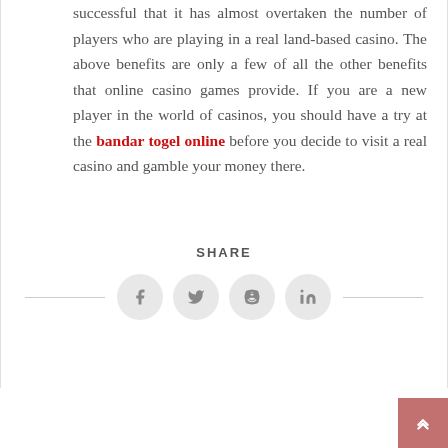successful that it has almost overtaken the number of players who are playing in a real land-based casino. The above benefits are only a few of all the other benefits that online casino games provide. If you are a new player in the world of casinos, you should have a try at the bandar togel online before you decide to visit a real casino and gamble your money there.
SHARE